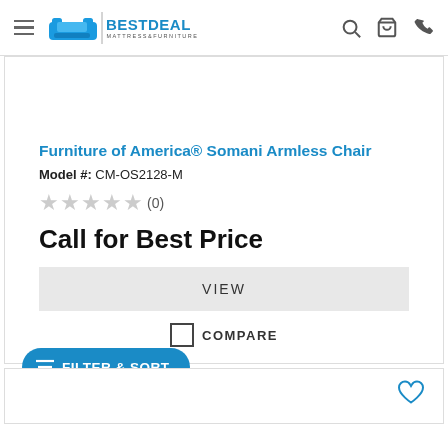BestDeal Mattress & Furniture — navigation header with logo, search, cart, and phone icons
Furniture of America® Somani Armless Chair
Model #: CM-OS2128-M
★★★★★ (0)
Call for Best Price
VIEW
COMPARE